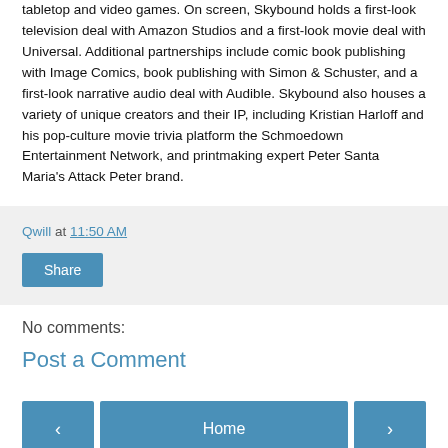tabletop and video games. On screen, Skybound holds a first-look television deal with Amazon Studios and a first-look movie deal with Universal. Additional partnerships include comic book publishing with Image Comics, book publishing with Simon & Schuster, and a first-look narrative audio deal with Audible. Skybound also houses a variety of unique creators and their IP, including Kristian Harloff and his pop-culture movie trivia platform the Schmoedown Entertainment Network, and printmaking expert Peter Santa Maria's Attack Peter brand.
Qwill at 11:50 AM
Share
No comments:
Post a Comment
‹
Home
›
View web version
Powered by Blogger.